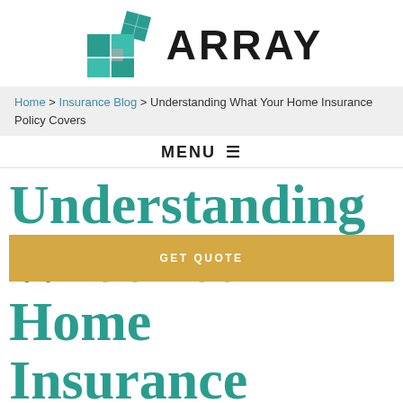[Figure (logo): Array insurance logo with teal/green mosaic tile squares and bold ARRAY text]
Home > Insurance Blog > Understanding What Your Home Insurance Policy Covers
MENU ≡
Understanding What Your Home Insurance Policy Covers
GET QUOTE